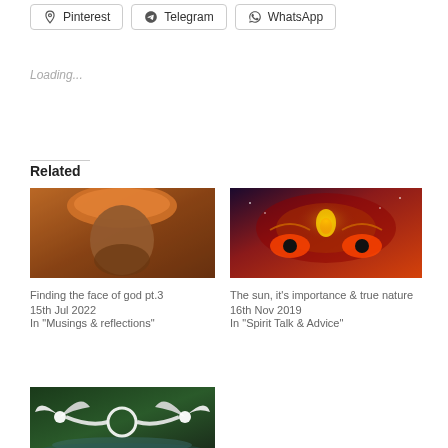Pinterest
Telegram
WhatsApp
Loading...
Related
[Figure (photo): Portrait of an elderly man wearing an orange turban, with a beard, smiling warmly.]
Finding the face of god pt.3
15th Jul 2022
In "Musings & reflections"
[Figure (illustration): Mystical illustration of a face with third eye, cosmic and fiery background.]
The sun, it’s importance & true nature
16th Nov 2019
In "Spirit Talk & Advice"
[Figure (photo): Two white birds with wings spread, appearing to form a heart shape, over water.]